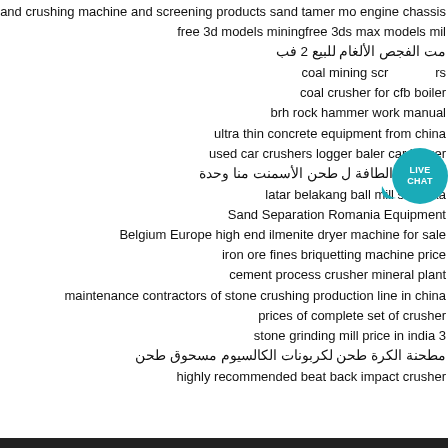mobile static and crushing machine and screening products sand tamer mo engine chassis
free 3d models miningfree 3ds max models mil
مت الفجص الألغام للبيع 2 فب
coal mining scr LIVE CHAT rs
coal crusher for cfb boiler
brh rock hammer work manual
ultra thin concrete equipment from china
used car crushers logger baler car logger
متطلبات الطافة ل طحن الأسمنت منا وحدة
latar belakang ball mill sri lanka
Sand Separation Romania Equipment
Belgium Europe high end ilmenite dryer machine for sale
iron ore fines briquetting machine price
cement process crusher mineral plant
maintenance contractors of stone crushing production line in china
prices of complete set of crusher
stone grinding mill price in india 3
مطحنة الكرة طحن لكربونات الكالسيوم مسحوق طحن
highly recommended beat back impact crusher